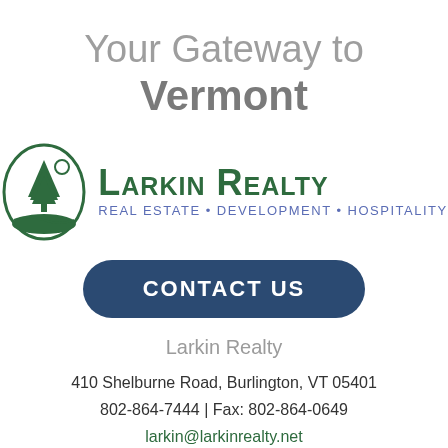Your Gateway to Vermont
[Figure (logo): Larkin Realty logo: oval with pine tree and sun, green and white, beside the text 'Larkin Realty' and tagline 'Real Estate • Development • Hospitality']
CONTACT US
Larkin Realty
410 Shelburne Road, Burlington, VT 05401
802-864-7444 | Fax: 802-864-0649
larkin@larkinrealty.net
Privacy Policy